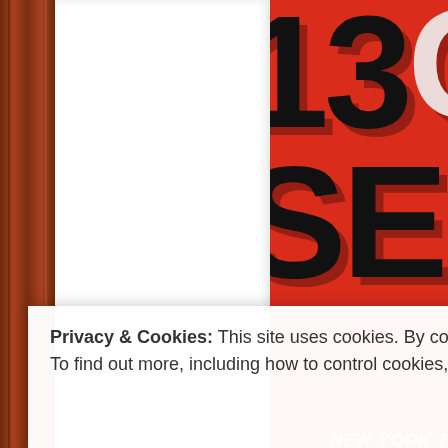[Figure (photo): Screenshot of a webpage showing a book cover. The left portion shows a brown leather spine and white pages. The right portion shows a red book cover with large bold black and gray 3D text reading '13 SECONDS' (partially cropped), 'NEW YORK TIMES BESTSELLING AUTHOR OF EYES WIDE OPEN' by ANDREW (cropped). A cookie consent banner overlays the bottom of the image.]
Privacy & Cookies: This site uses cookies. By continuing to use this website, you agree to their use.
To find out more, including how to control cookies, see here: Cookie Policy
Close and accept